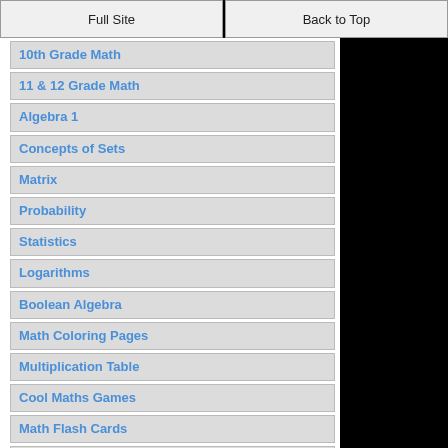Full Site | Back to Top
10th Grade Math
11 & 12 Grade Math
Algebra 1
Concepts of Sets
Matrix
Probability
Statistics
Logarithms
Boolean Algebra
Math Coloring Pages
Multiplication Table
Cool Maths Games
Math Flash Cards
Online Math Quiz
Math Puzzles
Binary System